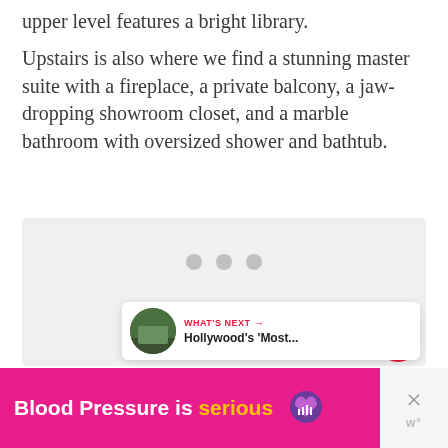upper level features a bright library.
Upstairs is also where we find a stunning master suite with a fireplace, a private balcony, a jaw-dropping showroom closet, and a marble bathroom with oversized shower and bathtub.
[Figure (photo): Loading image placeholder with three grey dots on light grey background, with heart (favorite) button and share button overlaid on the right side, and a 'What's Next' card showing Hollywood's Most...]
[Figure (infographic): Advertisement banner: 'Blood Pressure is serious' with a purple heart icon, pink/magenta background, with a close (X) button on the right]